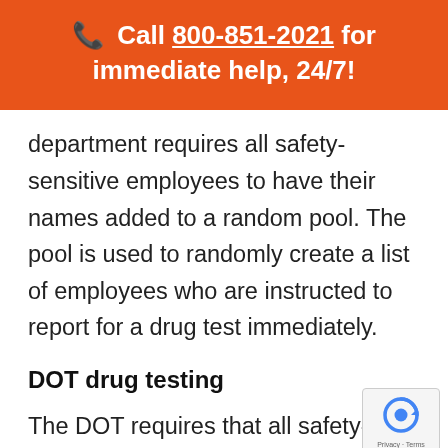📞 Call 800-851-2021 for immediate help, 24/7!
department requires all safety-sensitive employees to have their names added to a random pool. The pool is used to randomly create a list of employees who are instructed to report for a drug test immediately.
DOT drug testing
The DOT requires that all safety-
[Figure (other): reCAPTCHA privacy badge with circular arrow icon and 'Privacy - Terms' text]